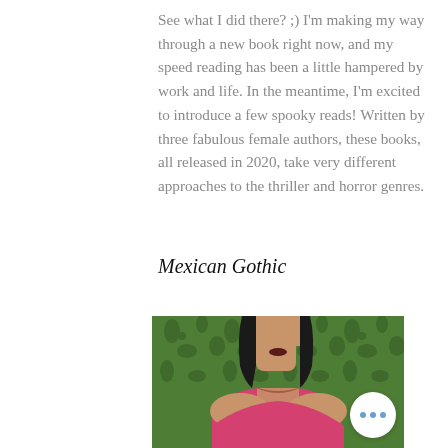See what I did there? ;) I'm making my way through a new book right now, and my speed reading has been a little hampered by work and life. In the meantime, I'm excited to introduce a few spooky reads! Written by three fabulous female authors, these books, all released in 2020, take very different approaches to the thriller and horror genres.
Mexican Gothic
[Figure (photo): Book cover or promotional image for Mexican Gothic showing a woman from shoulders up against a green floral wallpaper background, with dark hair and wearing a pink off-shoulder top]